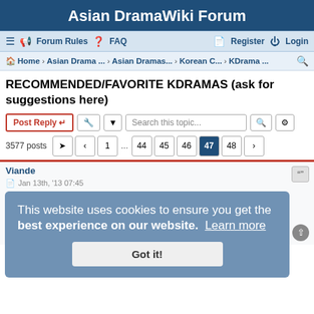Asian DramaWiki Forum
≡ 📣 Forum Rules ❓ FAQ   Register ⏻ Login
🏠 Home › Asian Drama ... › Asian Dramas... › Korean C... › KDrama ...
RECOMMENDED/FAVORITE KDRAMAS (ask for suggestions here)
Post Reply ↩  🔧 ▾  Search this topic... 🔍 ⚙
3577 posts  ➤ ‹ 1 ... 44 45 46 47 48 ›
Viande
This website uses cookies to ensure you get the best experience on our website. Learn more
Got it!
Jan 13th, '13 07:45
@ skytear
Vampire Prosecutor and Vampire Prosecutor 2. CSI type of drama with vampire theme. I defiently recommend these two. ^^